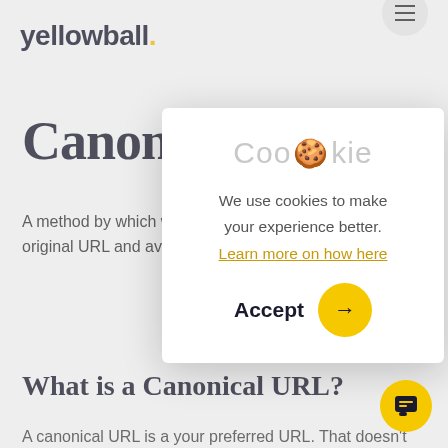yellowball.
Canonica
A method by which w... original URL and avoi...
[Figure (screenshot): Cookie consent modal popup with title 'Cookie' (with cookie emoji), body text 'We use cookies to make your experience better.', a link 'Learn more on how here', and an Accept button with yellow arrow circle.]
What is a Canonical URL?
A canonical URL is a your preferred URL. That doesn't